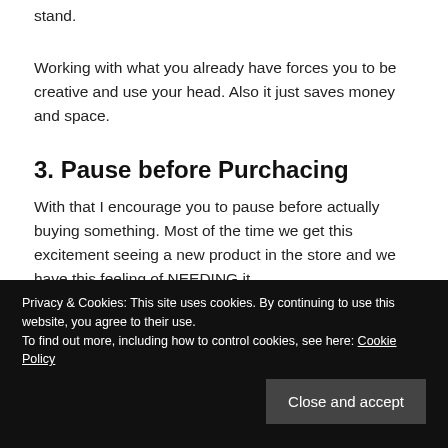stand.
Working with what you already have forces you to be creative and use your head. Also it just saves money and space.
3. Pause before Purchacing
With that I encourage you to pause before actually buying something. Most of the time we get this excitement seeing a new product in the store and we have this feeling of NEEDING it.
Privacy & Cookies: This site uses cookies. By continuing to use this website, you agree to their use.
To find out more, including how to control cookies, see here: Cookie Policy
after careful consideration, I will buy it.